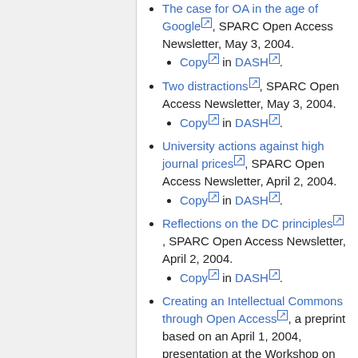The case for OA in the age of Google, SPARC Open Access Newsletter, May 3, 2004.
  • Copy in DASH.
Two distractions, SPARC Open Access Newsletter, May 3, 2004.
  • Copy in DASH.
University actions against high journal prices, SPARC Open Access Newsletter, April 2, 2004.
  • Copy in DASH.
Reflections on the DC principles, SPARC Open Access Newsletter, April 2, 2004.
  • Copy in DASH.
Creating an Intellectual Commons through Open Access, a preprint based on an April 1, 2004, presentation at the Workshop on